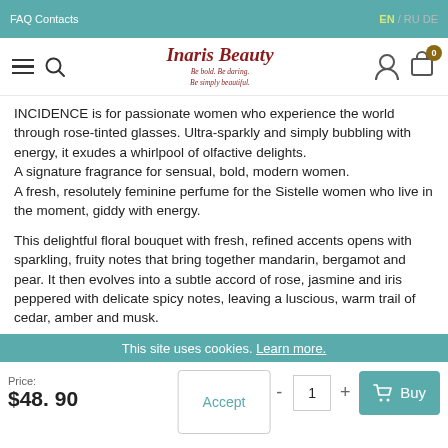FAQ  Contacts    EN  RU  DE
[Figure (logo): Inaris Beauty logo with tagline Be bold. Be daring. Be simply beautiful.]
INCIDENCE is for passionate women who experience the world through rose-tinted glasses. Ultra-sparkly and simply bubbling with energy, it exudes a whirlpool of olfactive delights. A signature fragrance for sensual, bold, modern women. A fresh, resolutely feminine perfume for the Sistelle women who live in the moment, giddy with energy.
This delightful floral bouquet with fresh, refined accents opens with sparkling, fruity notes that bring together mandarin, bergamot and pear. It then evolves into a subtle accord of rose, jasmine and iris peppered with delicate spicy notes, leaving a luscious, warm trail of cedar, amber and musk.
This site uses cookies. Learn more.
Price: $48. 90
Accept
- 1 + Buy